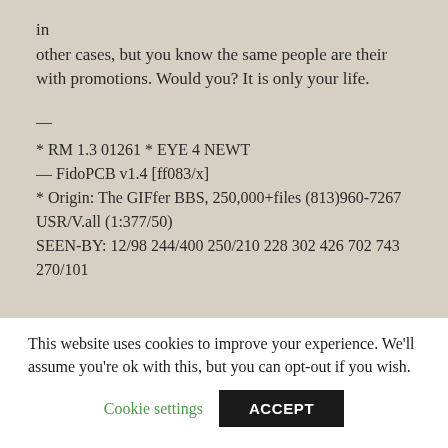in
other cases, but you know the same people are their with promotions. Would you? It is only your life.
—
* RM 1.3 01261 * EYE 4 NEWT
— FidoPCB v1.4 [ff083/x]
* Origin: The GIFfer BBS, 250,000+files (813)960-7267 USR/V.all (1:377/50)
SEEN-BY: 12/98 244/400 250/210 228 302 426 702 743 270/101
®юЇ®юЇ®юЇ®юЇ®юЇ®юЇ®юЇ®юЇ®юЇ®юЇ®юЇ®юЇ®юЇ®юЇ®юЇ®юЇ®юЇ®ю
This website uses cookies to improve your experience. We'll assume you're ok with this, but you can opt-out if you wish.
Cookie settings   ACCEPT